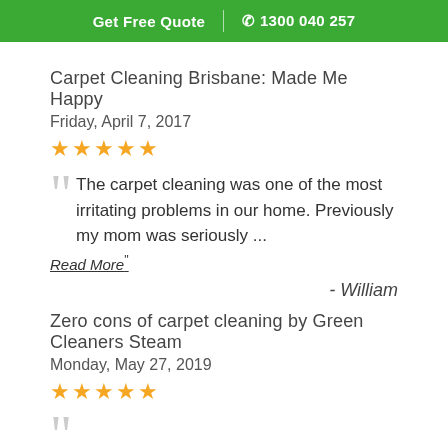Get Free Quote | 1300 040 257
Carpet Cleaning Brisbane: Made Me Happy
Friday, April 7, 2017
★★★★★
The carpet cleaning was one of the most irritating problems in our home. Previously my mom was seriously ...
Read More"
- William
Zero cons of carpet cleaning by Green Cleaners Steam
Monday, May 27, 2019
★★★★★